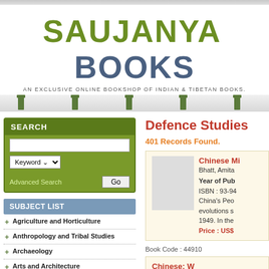[Figure (screenshot): Saujanya Books website header with logo and navigation bar]
SAUJANYA BOOKS
AN EXCLUSIVE ONLINE BOOKSHOP OF INDIAN & TIBETAN BOOKS.
SEARCH
SUBJECT LIST
+ Agriculture and Horticulture
+ Anthropology and Tribal Studies
+ Archaeology
+ Arts and Architecture
+ Astrology and Astronomy
Defence Studies
401 Records Found.
Chinese Mi...
Bhatt, Amita...
Year of Pub...
ISBN : 93-94...
China's Peo...
evolutions s...
1949. In the...
Price : US$...
Book Code : 44910
Chinese: W...